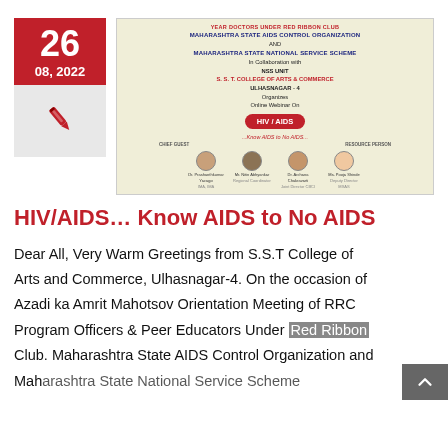[Figure (infographic): Event poster for an online webinar on HIV/AIDS titled 'Know AIDS to No AIDS', organized by Maharashtra State AIDS Control Organization, NSS Unit, S.S.T College of Arts & Commerce, Ulhasnagar-4. Features photos of chief guest and resource persons.]
HIV/AIDS… Know AIDS to No AIDS
Dear All, Very Warm Greetings from S.S.T College of Arts and Commerce, Ulhasnagar-4. On the occasion of Azadi ka Amrit Mahotsov Orientation Meeting of RRC Program Officers & Peer Educators Under Red Ribbon Club. Maharashtra State AIDS Control Organization and Maharashtra State National Service Scheme